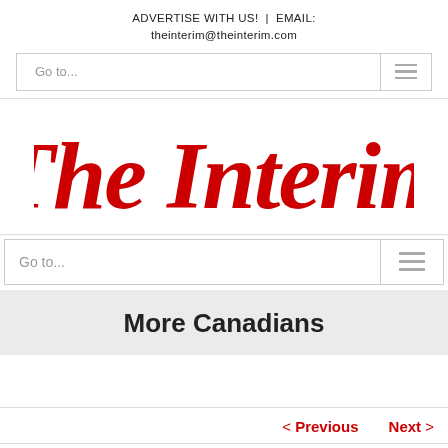ADVERTISE WITH US! | EMAIL: theinterim@theinterim.com
[Figure (logo): The Interim logo in red italic serif font]
Go to...
Go to...
More Canadians
< Previous   Next >